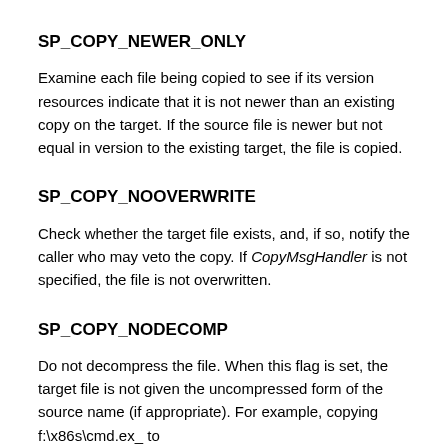SP_COPY_NEWER_ONLY
Examine each file being copied to see if its version resources indicate that it is not newer than an existing copy on the target. If the source file is newer but not equal in version to the existing target, the file is copied.
SP_COPY_NOOVERWRITE
Check whether the target file exists, and, if so, notify the caller who may veto the copy. If CopyMsgHandler is not specified, the file is not overwritten.
SP_COPY_NODECOMP
Do not decompress the file. When this flag is set, the target file is not given the uncompressed form of the source name (if appropriate). For example, copying f:\x86s\cmd.ex_ to